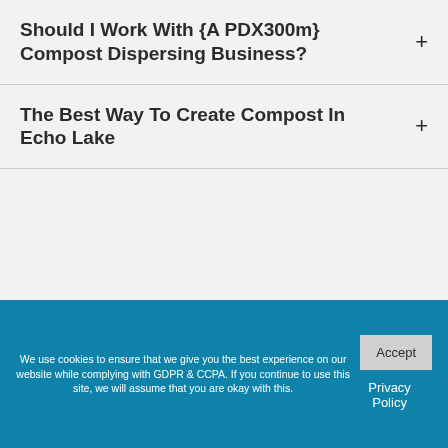Should I Work With {A PDX300m} Compost Dispersing Business?
The Best Way To Create Compost In Echo Lake
We use cookies to ensure that we give you the best experience on our website while complying with GDPR & CCPA. If you continue to use this site, we will assume that you are okay with this.